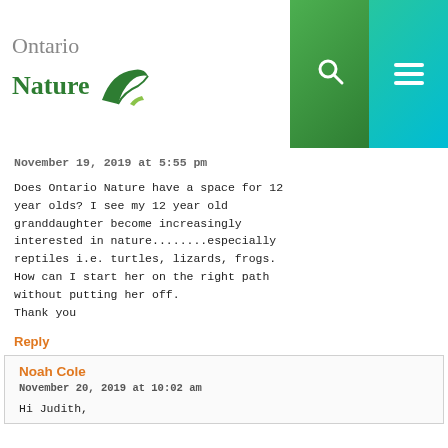[Figure (logo): Ontario Nature logo with green bird/leaf icon]
November 19, 2019 at 5:55 pm
Does Ontario Nature have a space for 12 year olds? I see my 12 year old granddaughter become increasingly interested in nature........especially reptiles i.e. turtles, lizards, frogs.
How can I start her on the right path without putting her off.
Thank you
Reply
Noah Cole
November 20, 2019 at 10:02 am
Hi Judith,